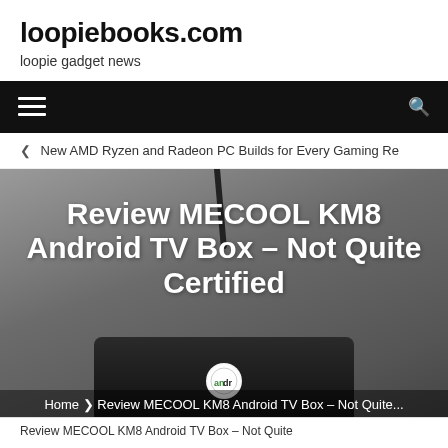loopiebooks.com
loopie gadget news
[Figure (screenshot): Navigation bar with hamburger menu icon on left and search icon on right, black background]
❮  New AMD Ryzen and Radeon PC Builds for Every Gaming Re
[Figure (photo): Hero image of MECOOL KM8 Android TV Box device on grey background with antenna visible at top, with article title overlay: Review MECOOL KM8 Android TV Box – Not Quite Certified]
Review MECOOL KM8 Android TV Box – Not Quite Certified
Home ❯  Review MECOOL KM8 Android TV Box – Not Quite...